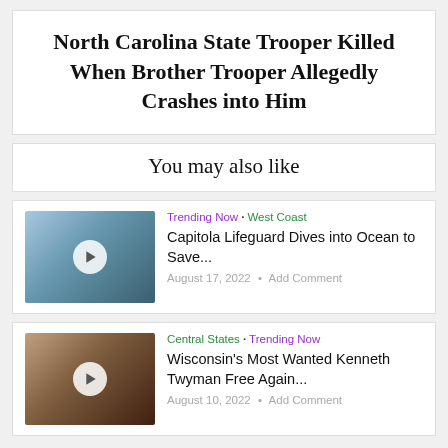North Carolina State Trooper Killed When Brother Trooper Allegedly Crashes into Him
You may also like
[Figure (photo): Thumbnail of a young man in dark clothing outdoors, with play button overlay]
Trending Now · West Coast
Capitola Lifeguard Dives into Ocean to Save...
August 17, 2022 · Add Comment
[Figure (photo): Thumbnail of two people, one wearing an orange top, with play button overlay]
Central States · Trending Now
Wisconsin's Most Wanted Kenneth Twyman Free Again...
August 10, 2022 · Add Comment